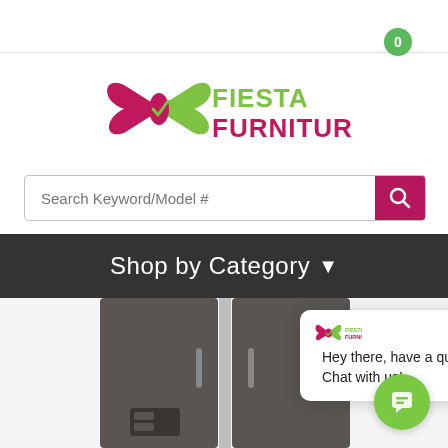[Figure (screenshot): Shopping cart icon badge showing 0 items in top right corner]
[Figure (logo): Fiesta Furniture logo with pink/magenta and green bowtie shape and green text reading FIESTA FURNITURE]
Search Keyword/Model #
Shop by Category
[Figure (photo): Dark grey/graphite side-by-side refrigerator product photo, partially visible at bottom of page]
Hey there, have a question? Chat with us!